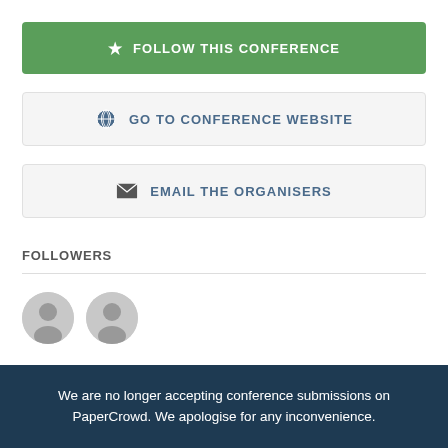FOLLOW THIS CONFERENCE
GO TO CONFERENCE WEBSITE
EMAIL THE ORGANISERS
FOLLOWERS
[Figure (illustration): Two circular avatar placeholder images representing followers]
CONFERENCE CATEGORY
We are no longer accepting conference submissions on PaperCrowd. We apologise for any inconvenience.